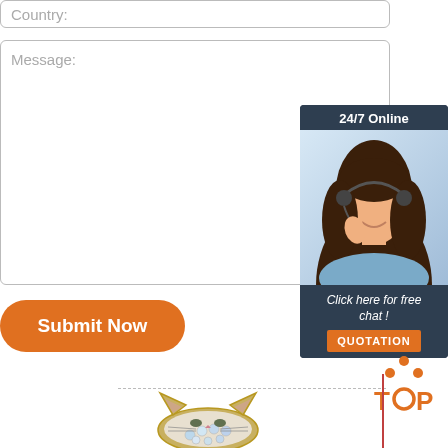Country:
Message:
[Figure (screenshot): Orange rounded Submit Now button]
[Figure (infographic): 24/7 Online chat widget with woman wearing headset, 'Click here for free chat!' text and orange QUOTATION button]
[Figure (illustration): TOP button with orange dots arrow and text]
[Figure (photo): Jeweled cat brooch/pin at bottom of page]